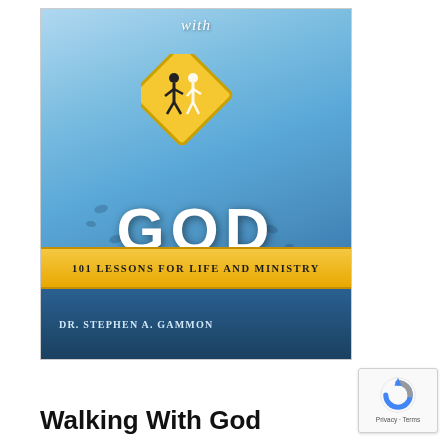[Figure (illustration): Book cover for 'Walking with God: 101 Lessons for Life and Ministry' by Dr. Stephen A. Gammon. Blue ocean/beach background with footprints, a yellow pedestrian road sign showing two figures walking, large white 'GOD' text, a yellow banner reading '101 Lessons for Life and Ministry', and author name at the bottom.]
Walking With God
[Figure (logo): Google reCAPTCHA badge with Privacy and Terms text]